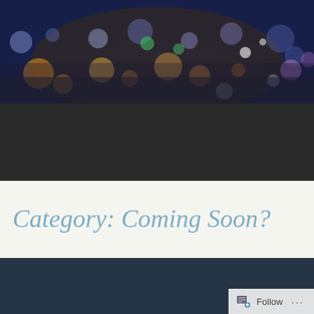[Figure (photo): Blurred bokeh cityscape at night with colorful lights — orange, blue, green, purple — suggesting an urban skyline out of focus]
Category: Coming Soon?
HOLY HELL! I FOUND A
[Figure (other): Follow button bar with icon and ellipsis menu at bottom right]